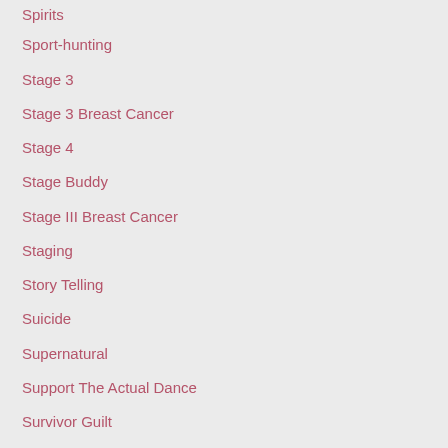Spirits
Sport-hunting
Stage 3
Stage 3 Breast Cancer
Stage 4
Stage Buddy
Stage III Breast Cancer
Staging
Story Telling
Suicide
Supernatural
Support The Actual Dance
Survivor Guilt
Susan Meryl Kalmans
Susan's Birthday
Susan Simon
Susan Simon Birthday
Syed Rizwan Farook
Syliva Sue Simon Pickens Owens
Synchronicities The Inner Path To Leadership